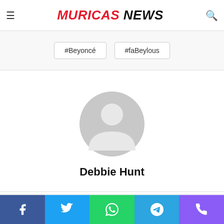This week's one thing to sip on is a drink in celebration of one grace our universe...
MURICAS NEWS
#Beyoncé
#faBeylous
[Figure (illustration): Generic user avatar placeholder — gray circle with white silhouette of a person]
Debbie Hunt
Social share bar: Facebook, Twitter, WhatsApp, Telegram, Phone